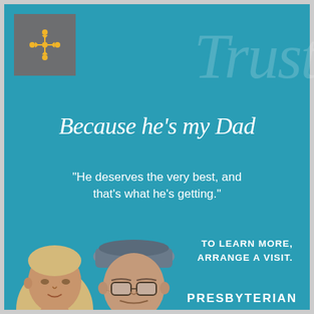[Figure (logo): Presbyterian senior care logo — gray square with yellow star/cross people symbol]
Trust
Because he's my Dad
"He deserves the very best, and that's what he's getting."
TO LEARN MORE, ARRANGE A VISIT.
[Figure (photo): Photo of an older man wearing a cap and glasses, with a younger blonde woman beside him, cropped from shoulders up]
PRESBYTERIAN